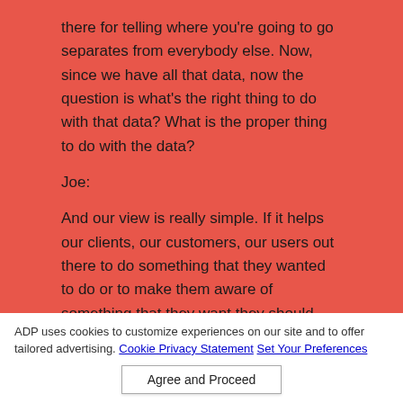there for telling where you're going to go separates from everybody else. Now, since we have all that data, now the question is what's the right thing to do with that data? What is the proper thing to do with the data?
Joe:
And our view is really simple. If it helps our clients, our customers, our users out there to do something that they wanted to do or to make them aware of something that they want they should know, then that's good. Right? So it's the alignment of that big data through a good model to get into the data at the right time. That's across the whole product line. That's across everything ADP is trying to do. We're trying to become a little bit like a barista at Starbucks where we know you enough that maybe we have your coffee ready before you always do that. You come and say the usual. Okay, good. Here's the
ADP uses cookies to customize experiences on our site and to offer tailored advertising. Cookie Privacy Statement Set Your Preferences
Agree and Proceed